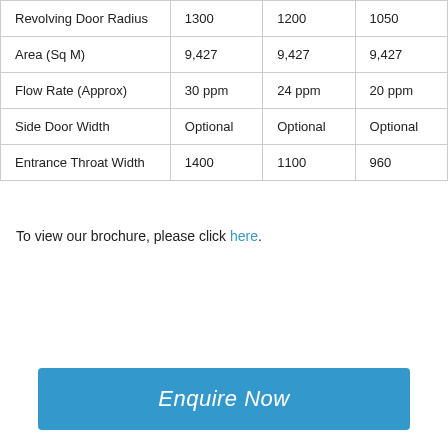| Revolving Door Radius | 1300 | 1200 | 1050 |
| Area (Sq M) | 9,427 | 9,427 | 9,427 |
| Flow Rate (Approx) | 30 ppm | 24 ppm | 20 ppm |
| Side Door Width | Optional | Optional | Optional |
| Entrance Throat Width | 1400 | 1100 | 960 |
To view our brochure, please click here.